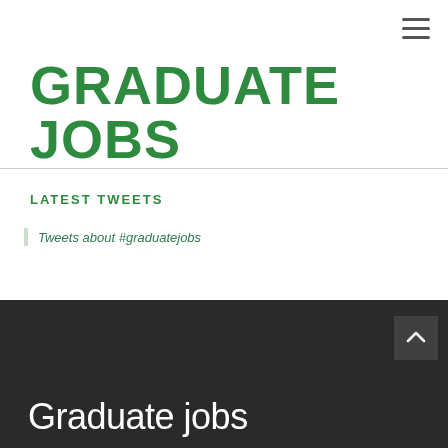[Figure (logo): Graduate Jobs logo in large green hand-painted style uppercase text]
LATEST TWEETS
Tweets about #graduatejobs
Graduate jobs